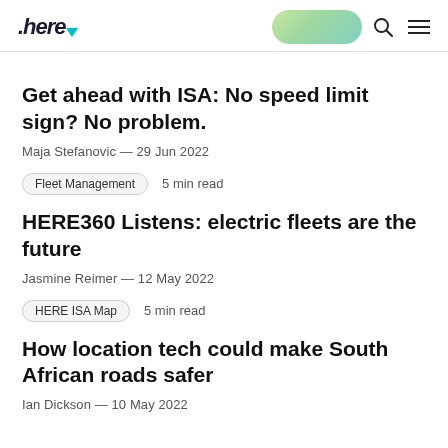.here [logo with pill and navigation icons]
Get ahead with ISA: No speed limit sign? No problem.
Maja Stefanovic — 29 Jun 2022
Fleet Management   5 min read
HERE360 Listens: electric fleets are the future
Jasmine Reimer — 12 May 2022
HERE ISA Map   5 min read
How location tech could make South African roads safer
Ian Dickson — 10 May 2022